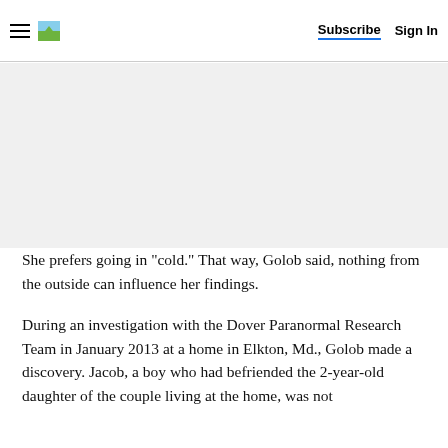Subscribe  Sign In
[Figure (other): Gray advertisement placeholder area]
She prefers going in "cold." That way, Golob said, nothing from the outside can influence her findings.
During an investigation with the Dover Paranormal Research Team in January 2013 at a home in Elkton, Md., Golob made a discovery. Jacob, a boy who had befriended the 2-year-old daughter of the couple living at the home, was not